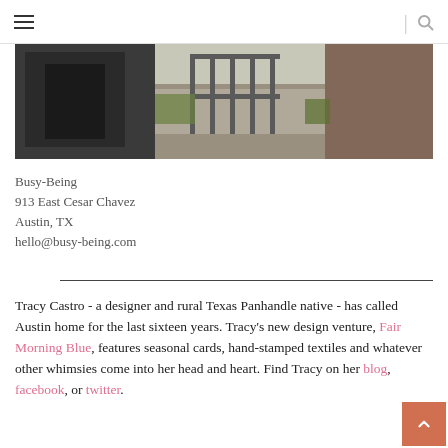Navigation header with hamburger menu and search icon
[Figure (photo): Exterior photo of a building entrance with a dark gate/door on the left, a paved walkway in the middle, metal fence/gate in center background, and a brick wall on the right.]
Busy-Being
913 East Cesar Chavez
Austin, TX
hello@busy-being.com
Tracy Castro - a designer and rural Texas Panhandle native - has called Austin home for the last sixteen years. Tracy's new design venture, Fair Morning Blue, features seasonal cards, hand-stamped textiles and whatever other whimsies come into her head and heart. Find Tracy on her blog, facebook, or twitter.